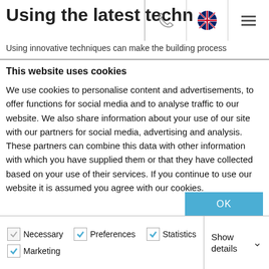Using the latest techn
Using innovative techniques can make the building process
This website uses cookies
We use cookies to personalise content and advertisements, to offer functions for social media and to analyse traffic to our website. We also share information about your use of our site with our partners for social media, advertising and analysis. These partners can combine this data with other information with which you have supplied them or that they have collected based on your use of their services. If you continue to use our website it is assumed you agree with our cookies.
OK
Necessary  Preferences  Statistics  Marketing  Show details